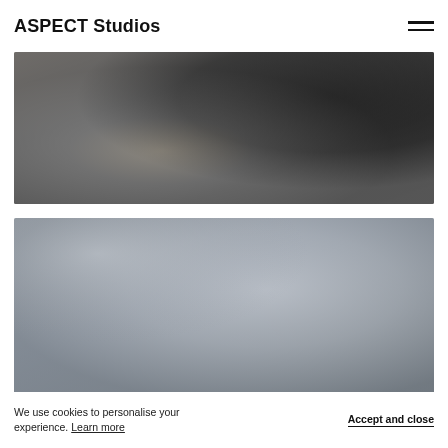ASPECT Studios
[Figure (photo): Blurred dark landscape photograph with dark grey and light tan tones, showing an abstract outdoor scene]
[Figure (photo): Blurred light grey and silver toned photograph, showing an abstract outdoor or architectural scene]
We use cookies to personalise your experience. Learn more
Accept and close